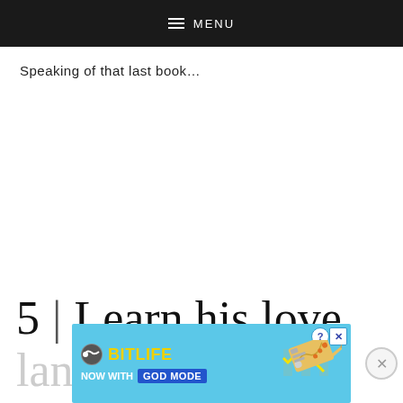MENU
Speaking of that last book…
5 | Learn his love
lan
[Figure (other): BitLife advertisement banner: 'BitLife NOW WITH GOD MODE' with hand pointing graphic on blue background]